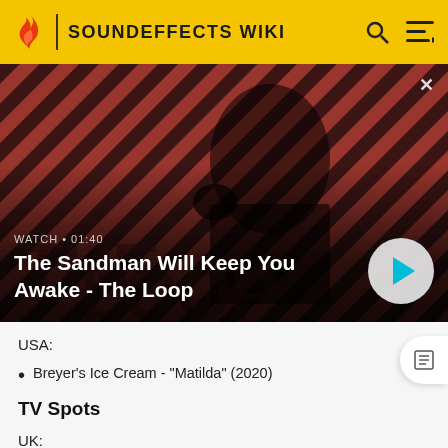SOUNDEFFECTS WIKI
[Figure (screenshot): Video banner showing a dark figure with a raven on their shoulder against a striped red/dark background. Text overlay: 'WATCH • 01:40' and title 'The Sandman Will Keep You Awake - The Loop' with a teal play button on the right.]
USA:
Breyer's Ice Cream - "Matilda" (2020)
TV Spots
UK: